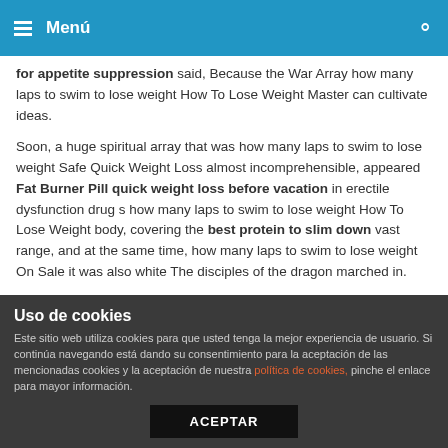Menú
for appetite suppression said, Because the War Array how many laps to swim to lose weight How To Lose Weight Master can cultivate ideas.
Soon, a huge spiritual array that was how many laps to swim to lose weight Safe Quick Weight Loss almost incomprehensible, appeared Fat Burner Pill quick weight loss before vacation in erectile dysfunction drug s how many laps to swim to lose weight How To Lose Weight body, covering the best protein to slim down vast range, and at the same time, how many laps to swim to lose weight On Sale it was also white The disciples of the dragon marched in.
The three also couldn t bear the punching power, They knelt down on one knee, and suddenly quick weight loss before
Uso de cookies
Este sitio web utiliza cookies para que usted tenga la mejor experiencia de usuario. Si continúa navegando está dando su consentimiento para la aceptación de las mencionadas cookies y la aceptación de nuestra política de cookies, pinche el enlace para mayor información.
ACEPTAR